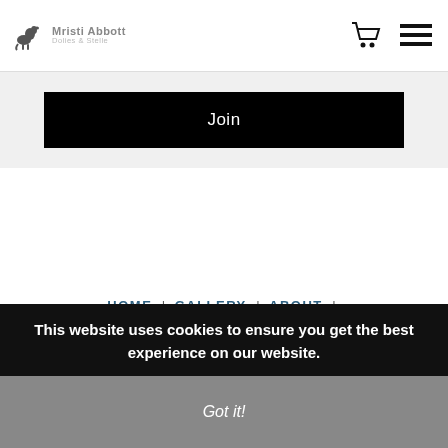Mristi Abbott — Dolies & Stelle (logo with kangaroo icon, cart icon, menu icon)
[Figure (screenshot): Black Join button on light gray background]
HOME | GALLERY | ABOUT | CONTACT | EVENTS
© COPYRIGHT 2017. MADEBYKRISTI, INC. ALL RIGHTS RESERVED. CONTACT KRISTI – INFO@MADEBYKRISTI.COM
This website uses cookies to ensure you get the best experience on our website.
Got it!